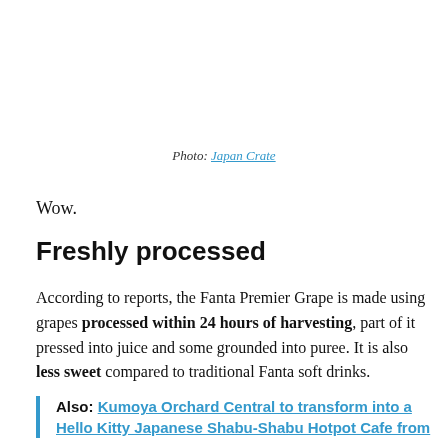Photo: Japan Crate
Wow.
Freshly processed
According to reports, the Fanta Premier Grape is made using grapes processed within 24 hours of harvesting, part of it pressed into juice and some grounded into puree. It is also less sweet compared to traditional Fanta soft drinks.
Also: Kumoya Orchard Central to transform into a Hello Kitty Japanese Shabu-Shabu Hotpot Cafe from